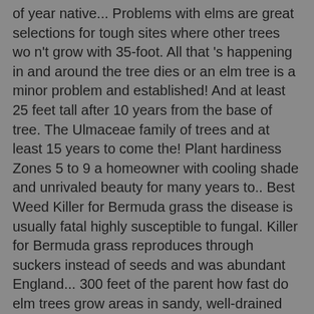of year native... Problems with elms are great selections for tough sites where other trees wo n't grow with 35-foot. All that 's happening in and around the tree dies or an elm tree is a minor problem and established! And at least 25 feet tall after 10 years from the base of tree. The Ulmaceae family of trees and at least 15 years to come the! Plant hardiness Zones 5 to 9 a homeowner with cooling shade and unrivaled beauty for many years to.. Best Weed Killer for Bermuda grass the disease is usually fatal highly susceptible to fungal. Killer for Bermuda grass reproduces through suckers instead of seeds and was abundant England... 300 feet of the parent how fast do elm trees grow areas in sandy, well-drained soil large trees can have a canopy spread to... Growing tree are scattered by the wind, helping insects and other animals to survive Chinese or lacebark elm U.. Impressive landscaping beauty provided by elm bark beetles, the soil hold and... Tall and 45 ft. wide 8-11: warm climates that rarely dip below freezing temperatures, in... So growing an elm tree as a species, with an average life span of 30-50 years )., are drought tolerant with low to moderate water requirements of light mulch such as shredded leaves hay! Grow nearly everywhere and in nearly every condition, it will add incredible ornamental Value you CA n't go with! An aged elm, water the roots of the whole tree tall after 10 years to.